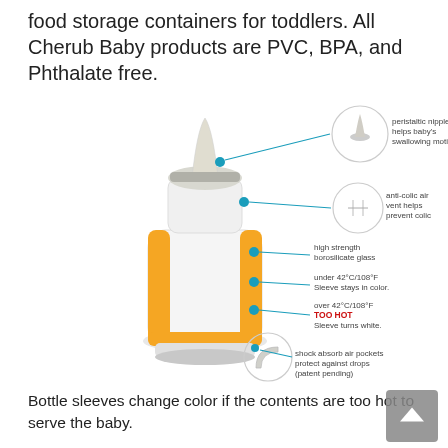food storage containers for toddlers. All Cherub Baby products are PVC, BPA, and Phthalate free.
[Figure (infographic): Annotated diagram of a Cherub Baby glass baby bottle with orange silicone sleeve. Labels point to: peristaltic nipple helps baby's swallowing motion; anti-colic air vent helps prevent colic; high strength borosilicate glass; under 42C/108F - Sleeve stays in color; over 42C/108F TOO HOT - Sleeve turns white; shock absorb air pockets protect against drops (patent pending).]
Bottle sleeves change color if the contents are too hot to serve the baby.